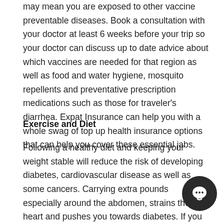may mean you are exposed to other vaccine preventable diseases. Book a consultation with your doctor at least 6 weeks before your trip so your doctor can discuss up to date advice about which vaccines are needed for that region as well as food and water hygiene, mosquito repellents and preventative prescription medications such as those for traveler's diarrhea. Expat Insurance can help you with a whole swag of top up health insurance options that can help you cover these essential jabs.
Exercise and Diet
Following a healthy diet and keeping your weight stable will reduce the risk of developing diabetes, cardiovascular disease as well as some cancers. Carrying extra pounds especially around the abdomen, strains the heart and pushes you towards diabetes. If you are overweight losing just 5 – 10% of your starting weight can make a big difference in...